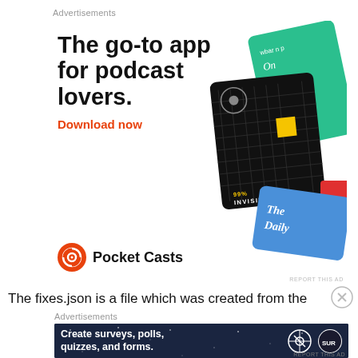Advertisements
[Figure (illustration): Pocket Casts advertisement showing app cards including 99% Invisible and The Daily, with headline 'The go-to app for podcast lovers.' and 'Download now' link and Pocket Casts logo]
The fixes.json is a file which was created from the
Advertisements
[Figure (illustration): WordPress/SurveySlot advertisement: 'Create surveys, polls, quizzes, and forms.' on dark blue starry background with WordPress and SurveySlot logos]